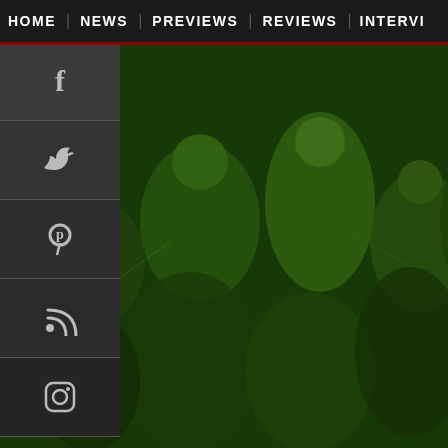HOME  NEWS  PREVIEWS  REVIEWS  INTERVI
[Figure (photo): Green-tinted band photo showing multiple musicians on stage or in a crowd, left side of page]
[Figure (photo): Social media sidebar icons: Facebook, Twitter, Pinterest, RSS, Instagram on dark background]
Matteo: I think that nowada... there are still a lot of people... stupid. Maybe they're the s... people that think that's imp... think you can easily unders... only.
[Figure (photo): Close-up photo of a tattoo on skin, appears to show an eagle or bird design in dark blue/black ink, with blue and orange/skin tones]